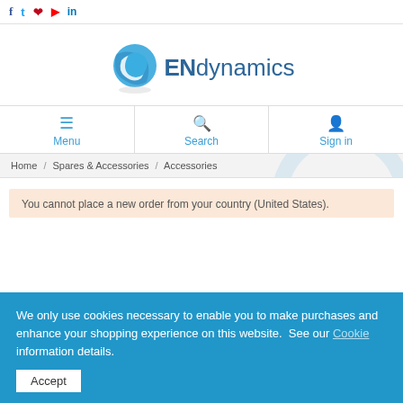f  t  p  yt  in
[Figure (logo): ENdynamics logo with blue globe icon and text 'ENdynamics']
Menu  Search  Sign in
Home / Spares & Accessories / Accessories
You cannot place a new order from your country (United States).
We only use cookies necessary to enable you to make purchases and enhance your shopping experience on this website.  See our Cookie information details.
Accept